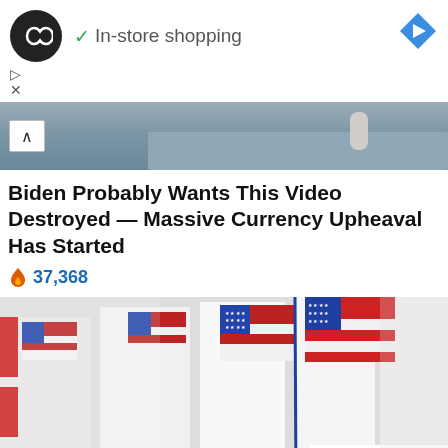[Figure (screenshot): Ad banner with infinity loop logo circle (black), green checkmark and 'In-store shopping' text, blue diamond navigation icon top right]
▷
X
[Figure (photo): Top portion of a blurred photo showing a desk/table with items, gray-blue tones]
Biden Probably Wants This Video Destroyed — Massive Currency Upheaval Has Started
🔥 37,368
[Figure (photo): Photo of voting booths with American flags and 'VOTE' text on white dividers, shallow depth of field]